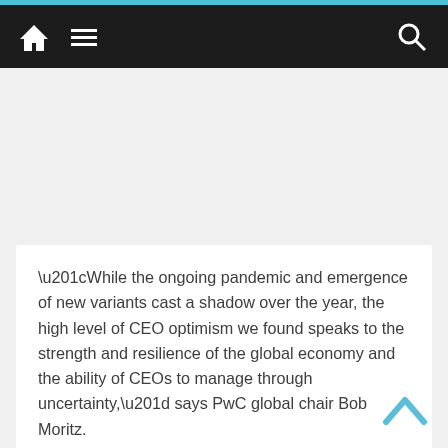Navigation bar with home, menu, and search icons
“While the ongoing pandemic and emergence of new variants cast a shadow over the year, the high level of CEO optimism we found speaks to the strength and resilience of the global economy and the ability of CEOs to manage through uncertainty,” says PwC global chair Bob Moritz.